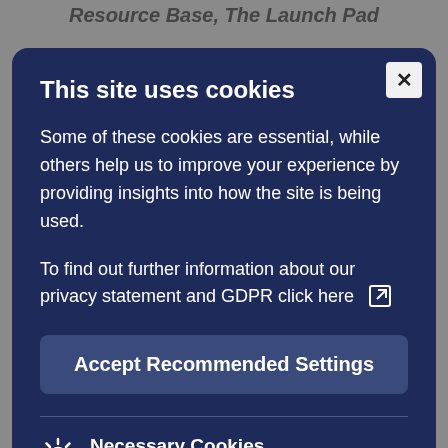Resource Base, The Launch Pad
This site uses cookies
Some of these cookies are essential, while others help us to improve your experience by providing insights into how the site is being used.
To find out further information about our privacy statement and GDPR click here
Accept Recommended Settings
Necessary Cookies
SEND interventions may